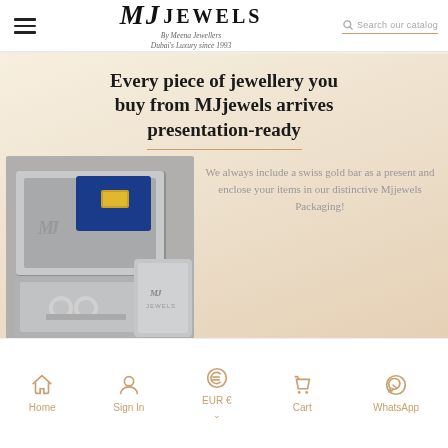MJ JEWELS - By Meena Jewellers - Dubai's Luxury since 1993
[Figure (screenshot): MJjewels website banner showing a jewellery presentation box with swiss gold bar and blue card, alongside a grey MJ Jewels gift box. Text reads: Every piece of jewellery you buy from MJjewels arrives presentation-ready. We always include a swiss gold bar as a present and enclose your items in our distinctive Mjjewels Packaging!]
Home | Sign In | EUR € | Cart | WhatsApp